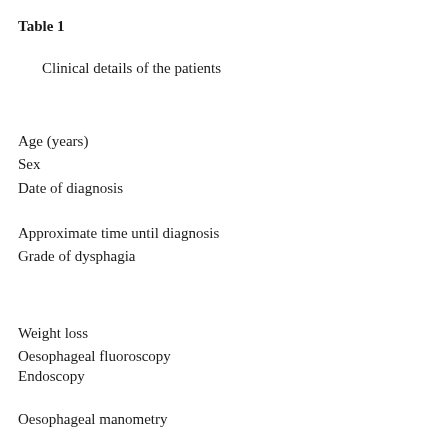Table 1
Clinical details of the patients
Age (years)
Sex
Date of diagnosis
Approximate time until diagnosis
Grade of dysphagia
Weight loss
Oesophageal fluoroscopy
Endoscopy
Oesophageal manometry